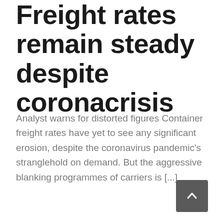Freight rates remain steady despite coronacrisis
Analyst warns for distorted figures Container freight rates have yet to see any significant erosion, despite the coronavirus pandemic's stranglehold on demand. But the aggressive blanking programmes of carriers is [...]